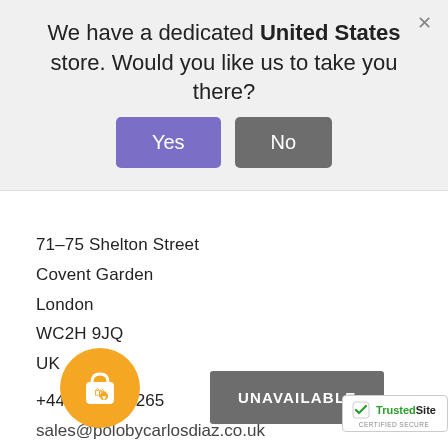We have a dedicated United States store. Would you like us to take you there?
71-75 Shelton Street
Covent Garden
London
WC2H 9JQ
UK
+44 7441416265
sales@polobycarlosdiaz.co.uk
[Figure (logo): TrustedSite Certified Secure badge]
[Figure (illustration): Facebook and Instagram social media icons]
[Figure (illustration): Orange circular shopping bag button with heart]
UNAVAILABLE
[Figure (logo): TrustedSite Certified Secure badge (bottom right)]